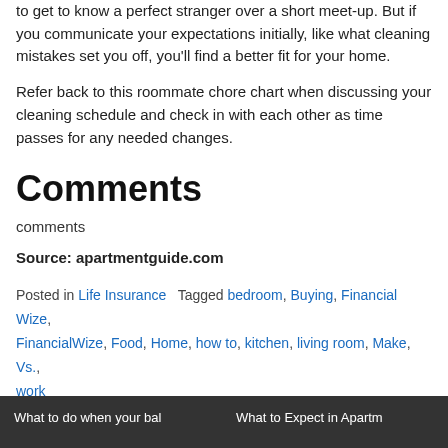Finding the perfect roommate is genuinely a feat. It's so hard to get to know a perfect stranger over a short meet-up. But if you communicate your expectations initially, like what cleaning mistakes set you off, you'll find a better fit for your home.
Refer back to this roommate chore chart when discussing your cleaning schedule and check in with each other as time passes for any needed changes.
Comments
comments
Source: apartmentguide.com
Posted in Life Insurance   Tagged bedroom, Buying, Financial Wize, FinancialWize, Food, Home, how to, kitchen, living room, Make, Vs., work
What to do when your bal   What to Expect in Apartm